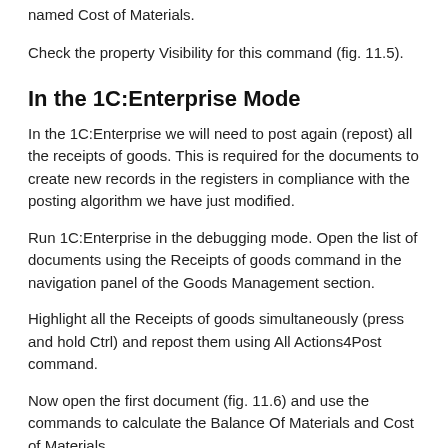named Cost of Materials.
Check the property Visibility for this command (fig. 11.5).
In the 1C:Enterprise Mode
In the 1C:Enterprise we will need to post again (repost) all the receipts of goods. This is required for the documents to create new records in the registers in compliance with the posting algorithm we have just modified.
Run 1C:Enterprise in the debugging mode. Open the list of documents using the Receipts of goods command in the navigation panel of the Goods Management section.
Highlight all the Receipts of goods simultaneously (press and hold Ctrl) and repost them using All Actions4Post command.
Now open the first document (fig. 11.6) and use the commands to calculate the Balance Of Materials and Cost of Materials.